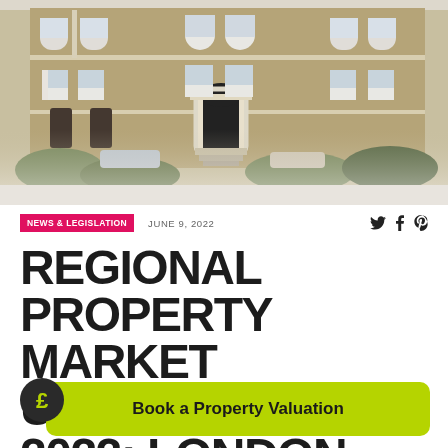[Figure (photo): Front facade of a row of Victorian brick terraced houses in London, with white-framed sash windows, arched doorways, stone steps, and foliage in front.]
NEWS & LEGISLATION   JUNE 9, 2022
REGIONAL PROPERTY MARKET UPDATE SUMMER 2022: LONDON
Book a Property Valuation